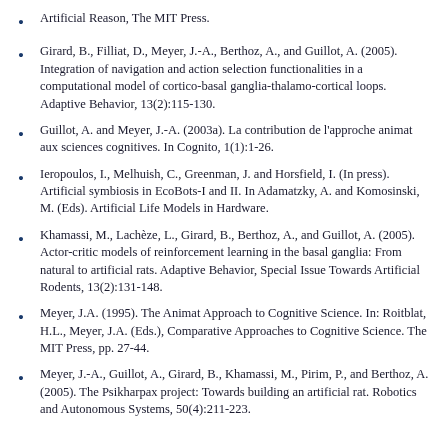Artificial Reason, The MIT Press.
Girard, B., Filliat, D., Meyer, J.-A., Berthoz, A., and Guillot, A. (2005). Integration of navigation and action selection functionalities in a computational model of cortico-basal ganglia-thalamo-cortical loops. Adaptive Behavior, 13(2):115-130.
Guillot, A. and Meyer, J.-A. (2003a). La contribution de l'approche animat aux sciences cognitives. In Cognito, 1(1):1-26.
Ieropoulos, I., Melhuish, C., Greenman, J. and Horsfield, I. (In press). Artificial symbiosis in EcoBots-I and II. In Adamatzky, A. and Komosinski, M. (Eds). Artificial Life Models in Hardware.
Khamassi, M., Lachèze, L., Girard, B., Berthoz, A., and Guillot, A. (2005). Actor-critic models of reinforcement learning in the basal ganglia: From natural to artificial rats. Adaptive Behavior, Special Issue Towards Artificial Rodents, 13(2):131-148.
Meyer, J.A. (1995). The Animat Approach to Cognitive Science. In: Roitblat, H.L., Meyer, J.A. (Eds.), Comparative Approaches to Cognitive Science. The MIT Press, pp. 27-44.
Meyer, J.-A., Guillot, A., Girard, B., Khamassi, M., Pirim, P., and Berthoz, A. (2005). The Psikharpax project: Towards building an artificial rat. Robotics and Autonomous Systems, 50(4):211-223.